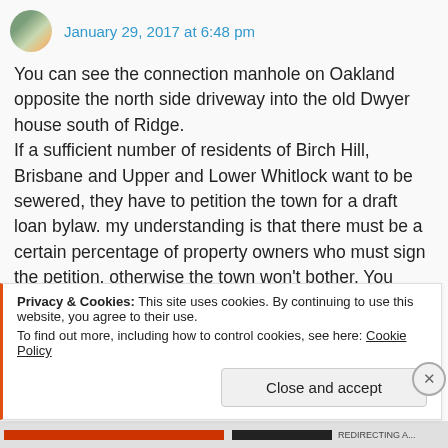January 29, 2017 at 6:48 pm
You can see the connection manhole on Oakland opposite the north side driveway into the old Dwyer house south of Ridge.
If a sufficient number of residents of Birch Hill, Brisbane and Upper and Lower Whitlock want to be sewered, they have to petition the town for a draft loan bylaw. my understanding is that there must be a certain percentage of property owners who must sign the petition, otherwise the town won't bother. You could put that question to the DG and get a more accurate answer than you
Privacy & Cookies: This site uses cookies. By continuing to use this website, you agree to their use.
To find out more, including how to control cookies, see here: Cookie Policy
Close and accept